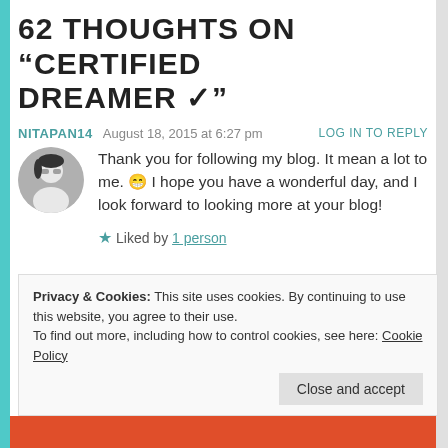62 THOUGHTS ON “CERTIFIED DREAMER ✓”
NITAPAN14   August 18, 2015 at 6:27 pm   LOG IN TO REPLY
Thank you for following my blog. It mean a lot to me. 😃 I hope you have a wonderful day, and I look forward to looking more at your blog!
★ Liked by 1 person
Privacy & Cookies: This site uses cookies. By continuing to use this website, you agree to their use.
To find out more, including how to control cookies, see here: Cookie Policy
Close and accept